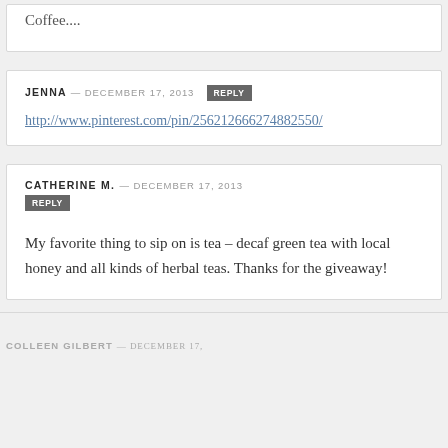Coffee....
JENNA — DECEMBER 17, 2013 REPLY
http://www.pinterest.com/pin/256212666274882550/
CATHERINE M. — DECEMBER 17, 2013 REPLY
My favorite thing to sip on is tea – decaf green tea with local honey and all kinds of herbal teas. Thanks for the giveaway!
COLLEEN GILBERT — DECEMBER 17,